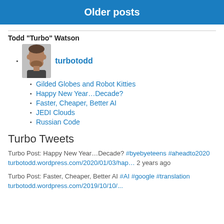Older posts
Todd "Turbo" Watson
turbotodd
Gilded Globes and Robot Kitties
Happy New Year…Decade?
Faster, Cheaper, Better AI
JEDI Clouds
Russian Code
Turbo Tweets
Turbo Post: Happy New Year…Decade? #byebyeteens #aheadto2020 turbotodd.wordpress.com/2020/01/03/hap… 2 years ago
Turbo Post: Faster, Cheaper, Better AI #AI #google #translation turbotodd.wordpress.com/2019/...